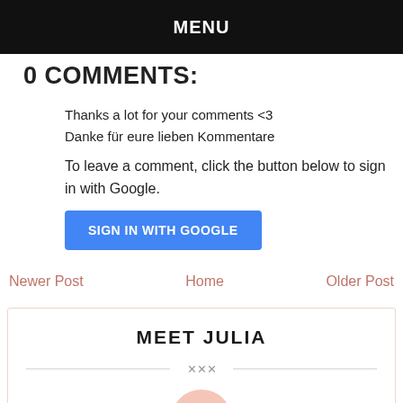MENU
0 COMMENTS:
Thanks a lot for your comments <3
Danke für eure lieben Kommentare
To leave a comment, click the button below to sign in with Google.
SIGN IN WITH GOOGLE
Newer Post   Home   Older Post
MEET JULIA